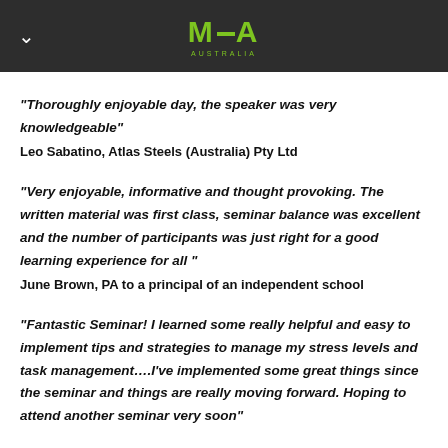MTA AUSTRALIA
"Thoroughly enjoyable day, the speaker was very knowledgeable"
Leo Sabatino, Atlas Steels (Australia) Pty Ltd
"Very enjoyable, informative and thought provoking. The written material was first class, seminar balance was excellent and the number of participants was just right for a good learning experience for all "
June Brown,  PA to a principal of an independent school
"Fantastic Seminar! I learned some really helpful and easy to implement tips and strategies to manage my stress levels and task management….I've implemented some great things since the seminar and things are really moving forward. Hoping to attend another seminar very soon"